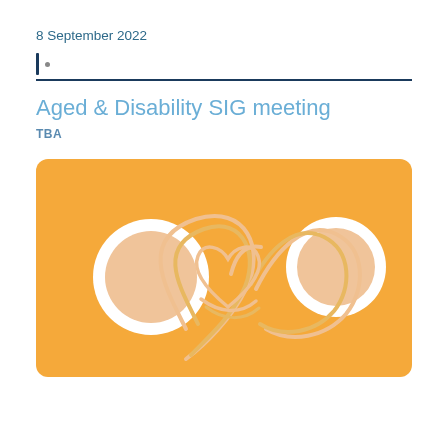8 September 2022
Aged & Disability SIG meeting
TBA
[Figure (illustration): Orange rounded-rectangle banner with a stylised illustration: two white-outlined circles containing peach-coloured discs (representing people) on the left and right, and a central curving line-art heart/infinity symbol made of golden-orange arcs on an orange background.]